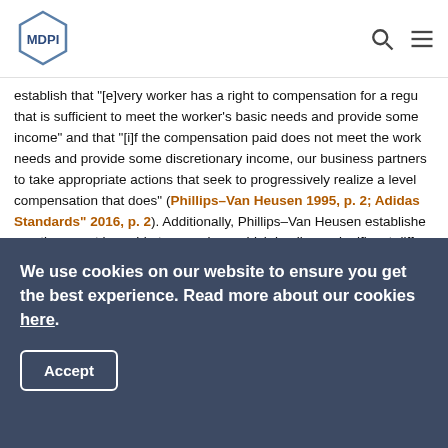MDPI
establish that "[e]very worker has a right to compensation for a regular work week that is sufficient to meet the worker's basic needs and provide some discretionary income" and that "[i]f the compensation paid does not meet the worker's basic needs and provide some discretionary income, our business partners are required to take appropriate actions that seek to progressively realize a level of compensation that does" (Phillips–Van Heusen 1995, p. 2; Adidas "Workplace Standards" 2016, p. 2). Additionally, Phillips–Van Heusen established that overtime must be paid at a premium, which implies a significant difference between regular and overtime pay (compared to those companies that merely state that overtime is paid at a higher rate) (Phillips–Van Heusen 1995, p. 2). This is significant as minimum wage required by law is not always sufficient to guarantee the basic needs of workers (i.e., so-called "living wage"). W countries such as Bangladesh where minimum wage is $0.09/h (Cap
We use cookies on our website to ensure you get the best experience. Read more about our cookies here.